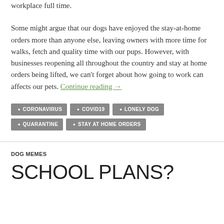workplace full time.
Some might argue that our dogs have enjoyed the stay-at-home orders more than anyone else, leaving owners with more time for walks, fetch and quality time with our pups. However, with businesses reopening all throughout the country and stay at home orders being lifted, we can't forget about how going to work can affects our pets. Continue reading →
CORONAVIRUS
COVID19
LONELY DOG
QUARANTINE
STAY AT HOME ORDERS
DOG MEMES
SCHOOL PLANS?